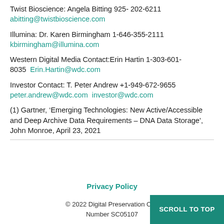Twist Bioscience: Angela Bitting 925- 202-6211
abitting@twistbioscience.com
Illumina: Dr. Karen Birmingham 1-646-355-2111
kbirmingham@illumina.com
Western Digital Media Contact:Erin Hartin 1-303-601-8035  Erin.Hartin@wdc.com
Investor Contact: T. Peter Andrew +1-949-672-9655
peter.andrew@wdc.com investor@wdc.com
(1) Gartner, ‘Emerging Technologies: New Active/Accessible and Deep Archive Data Requirements – DNA Data Storage’, John Monroe, April 23, 2021
Privacy Policy
© 2022 Digital Preservation Coa... Number SC05107...